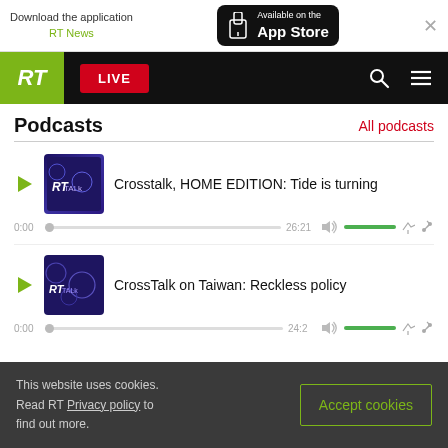[Figure (screenshot): App Store download banner for RT News application with black App Store badge]
[Figure (screenshot): RT website navigation bar with green RT logo, red LIVE button, search and menu icons]
Podcasts
All podcasts
[Figure (screenshot): Podcast item: Crosstalk HOME EDITION: Tide is turning with player controls, time 0:00, duration 26:21]
Crosstalk, HOME EDITION: Tide is turning
[Figure (screenshot): Podcast item: CrossTalk on Taiwan: Reckless policy with player controls, time 0:00, duration 24:2]
CrossTalk on Taiwan: Reckless policy
This website uses cookies. Read RT Privacy policy to find out more.